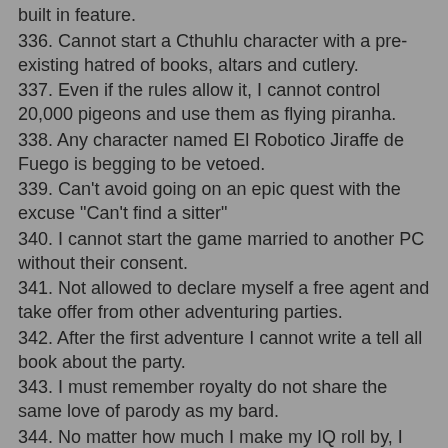built in feature.
336. Cannot start a Cthuhlu character with a pre-existing hatred of books, altars and cutlery.
337. Even if the rules allow it, I cannot control 20,000 pigeons and use them as flying piranha.
338. Any character named El Robotico Jiraffe de Fuego is begging to be vetoed.
339. Can't avoid going on an epic quest with the excuse "Can't find a sitter"
340. I cannot start the game married to another PC without their consent.
341. Not allowed to declare myself a free agent and take offer from other adventuring parties.
342. After the first adventure I cannot write a tell all book about the party.
343. I must remember royalty do not share the same love of parody as my bard.
344. No matter how much I make my IQ roll by, I can't make the other guy's head explode.
345. I don't have weapon proficiency in elf, either.
346. I most certainly don't have weapon proficiency in a Phased-plasma rifle in the forty watt range.